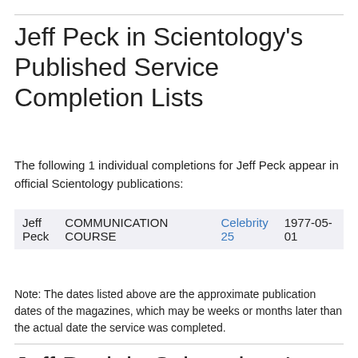Jeff Peck in Scientology's Published Service Completion Lists
The following 1 individual completions for Jeff Peck appear in official Scientology publications:
| Jeff Peck | COMMUNICATION COURSE | Celebrity 25 | 1977-05-01 |
Note: The dates listed above are the approximate publication dates of the magazines, which may be weeks or months later than the actual date the service was completed.
Jeff Peck in Scientology's Publications